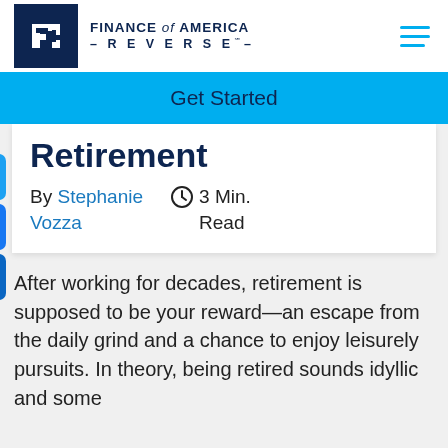[Figure (logo): Finance of America Reverse logo with dark navy square and white FA icon, company name to the right]
Get Started
Retirement
By Stephanie Vozza
3 Min. Read
After working for decades, retirement is supposed to be your reward—an escape from the daily grind and a chance to enjoy leisurely pursuits. In theory, being retired sounds idyllic and some